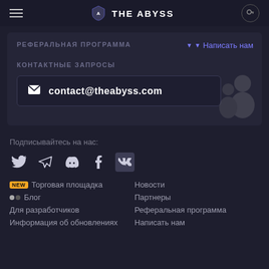THE ABYSS
РЕФЕРАЛЬНАЯ ПРОГРАММА
Написать нам
КОНТАКТНЫЕ ЗАПРОСЫ
contact@theabyss.com
Подписывайтесь на нас:
Торговая площадка
Блог
Для разработчиков
Информация об обновлениях
Новости
Партнеры
Реферальная программа
Написать нам